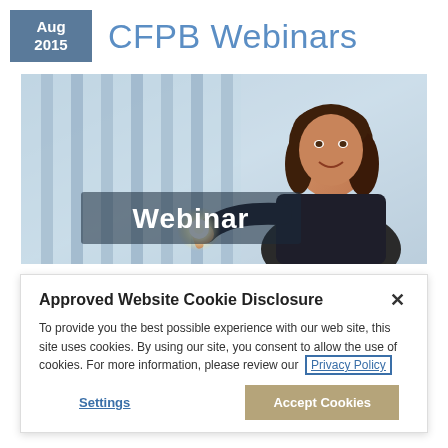Aug 2015 — CFPB Webinars
[Figure (photo): A professional woman in a dark blazer smiling and pointing at a glowing screen/button with 'Webinar' text overlay, set against a blurred office background with vertical blinds.]
Approved Website Cookie Disclosure
To provide you the best possible experience with our web site, this site uses cookies. By using our site, you consent to allow the use of cookies. For more information, please review our Privacy Policy
Settings
Accept Cookies